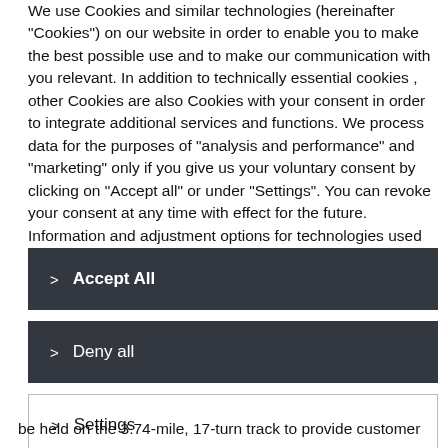We use Cookies and similar technologies (hereinafter "Cookies") on our website in order to enable you to make the best possible use and to make our communication with you relevant. In addition to technically essential cookies , other Cookies are also Cookies with your consent in order to integrate additional services and functions. We process data for the purposes of "analysis and performance" and "marketing" only if you give us your voluntary consent by clicking on "Accept all" or under "Settings". You can revoke your consent at any time with effect for the future. Information and adjustment options for technologies used by us and third-party providers as well as for revocation can be found under "Settings" and in our Cookie policy.
> Accept All
> Deny all
> Settings
be held on the 3.74-mile, 17-turn track to provide customer